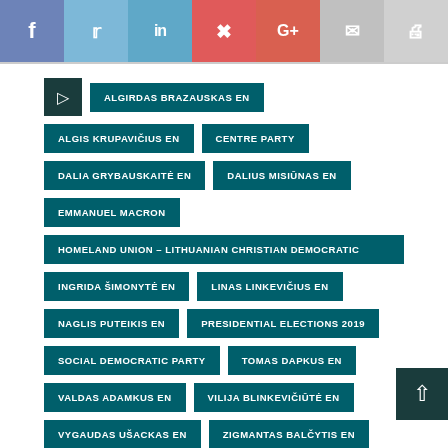[Figure (infographic): Social media share buttons bar: Facebook (blue-purple), Twitter (light blue), LinkedIn (blue), Pinterest (red), Google+ (red-orange), Email (gray), Print (gray)]
ALGIRDAS BRAZAUSKAS EN
ALGIS KRUPAVIČIUS EN
CENTRE PARTY
DALIA GRYBAUSKAITĖ EN
DALIUS MISIŪNAS EN
EMMANUEL MACRON
HOMELAND UNION – LITHUANIAN CHRISTIAN DEMOCRATIC
INGRIDA ŠIMONYTĖ EN
LINAS LINKEVIČIUS EN
NAGLIS PUTEIKIS EN
PRESIDENTIAL ELECTIONS 2019
SOCIAL DEMOCRATIC PARTY
TOMAS DAPKUS EN
VALDAS ADAMKUS EN
VILIJA BLINKEVIČIŪTĖ EN
VYGAUDAS UŠACKAS EN
ZIGMANTAS BALČYTIS EN